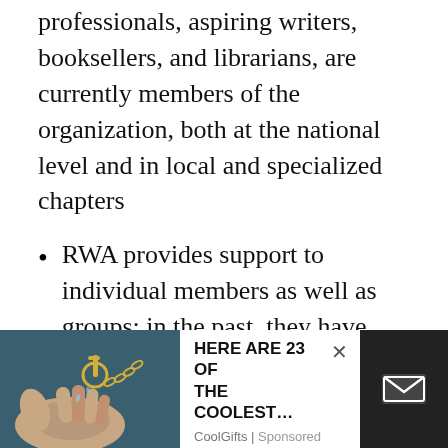professionals, aspiring writers, booksellers, and librarians, are currently members of the organization, both at the national level and in local and specialized chapters
RWA provides support to individual members as well as groups; in the past, they have sought legal class action against a publisher who failed to pay its authors, and provided tangible support for romance authors being sued during CockyGate
As a nonprofit organization, RWA is maintained by a small staff and several volunteers, including [Board] of Directors and
[Figure (screenshot): Advertisement overlay at the bottom of the page showing a photo of hands with keys on the left, ad text 'HERE ARE 23 OF THE COOLEST...' from CoolGifts Sponsored in the middle, and a dark box with an email envelope icon on the right. An X close button is visible.]